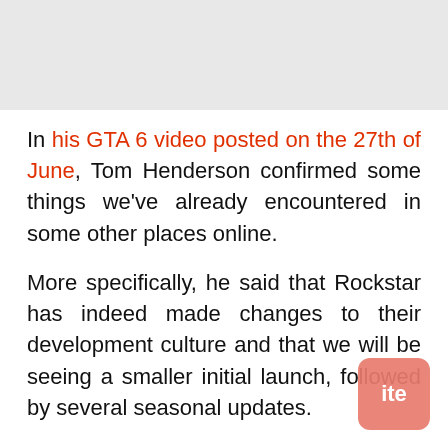[Figure (photo): Grey/light background image area at top of page]
In his GTA 6 video posted on the 27th of June, Tom Henderson confirmed some things we've already encountered in some other places online.
More specifically, he said that Rockstar has indeed made changes to their development culture and that we will be seeing a smaller initial launch, followed by several seasonal updates.
These updates will affect how the default map looks every time a new DLC is released and will bring in new locations for the players to explore.
Henderson compares this map overhaul to Fortnite, for example, with a giant meteor crashing into the